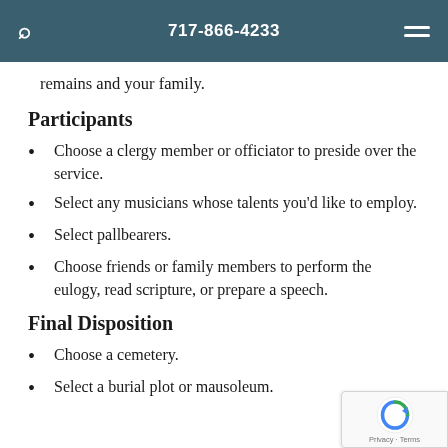717-866-4233
remains and your family.
Participants
Choose a clergy member or officiator to preside over the service.
Select any musicians whose talents you'd like to employ.
Select pallbearers.
Choose friends or family members to perform the eulogy, read scripture, or prepare a speech.
Final Disposition
Choose a cemetery.
Select a burial plot or mausoleum.